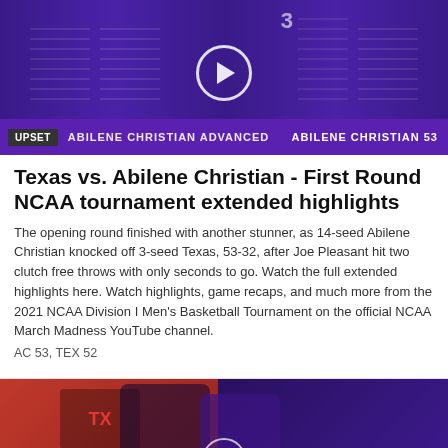[Figure (photo): Basketball players in purple uniforms (Abilene Christian) with a video play button overlay. Bottom banner shows UPSET tag and 'ABILENE CHRISTIAN ADVANCED' text with score ABILENE CHRISTIAN 53]
Texas vs. Abilene Christian - First Round NCAA tournament extended highlights
The opening round finished with another stunner, as 14-seed Abilene Christian knocked off 3-seed Texas, 53-32, after Joe Pleasant hit two clutch free throws with only seconds to go. Watch the full extended highlights here. Watch highlights, game recaps, and much more from the 2021 NCAA Division I Men's Basketball Tournament on the official NCAA March Madness YouTube channel.
AC 53, TEX 52
[Figure (photo): Two basketball players in a physical contest on court — one in white/red jersey, one in purple jersey — during the Texas vs Abilene Christian NCAA game. Red court visible in background.]